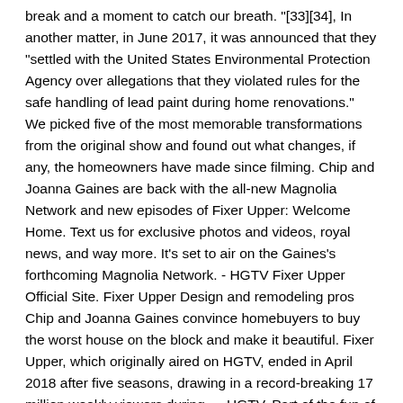break and a moment to catch our breath. "[33][34], In another matter, in June 2017, it was announced that they "settled with the United States Environmental Protection Agency over allegations that they violated rules for the safe handling of lead paint during home renovations." We picked five of the most memorable transformations from the original show and found out what changes, if any, the homeowners have made since filming. Chip and Joanna Gaines are back with the all-new Magnolia Network and new episodes of Fixer Upper: Welcome Home. Text us for exclusive photos and videos, royal news, and way more. It's set to air on the Gaines's forthcoming Magnolia Network. - HGTV Fixer Upper Official Site. Fixer Upper Design and remodeling pros Chip and Joanna Gaines convince homebuyers to buy the worst house on the block and make it beautiful. Fixer Upper, which originally aired on HGTV, ended in April 2018 after five seasons, drawing in a record-breaking 17 million weekly viewers during … HGTV. Part of the fun of watching Fixer Upper is, of course, the "big reveal" at the end of the episode when Joanna and Chip show the couple how they have transformed the house. Michael Davello The house, which was featured in season four of the HGTV show, was one of